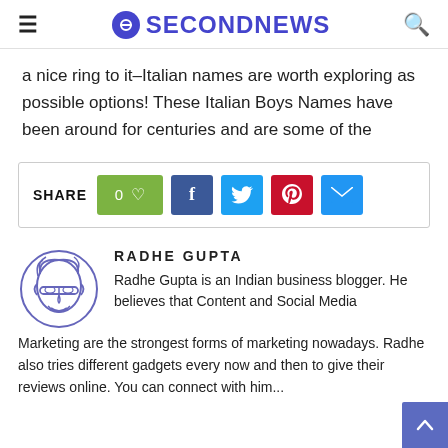SECONDNEWS
a nice ring to it–Italian names are worth exploring as possible options! These Italian Boys Names have been around for centuries and are some of the
[Figure (infographic): Social share bar with like count (0), Facebook, Twitter, Pinterest, and email buttons]
[Figure (illustration): Cartoon avatar of Radhe Gupta – a bespectacled cartoon face drawn in blue outline]
RADHE GUPTA
Radhe Gupta is an Indian business blogger. He believes that Content and Social Media Marketing are the strongest forms of marketing nowadays. Radhe also tries different gadgets every now and then to give their reviews online. You can connect with him...